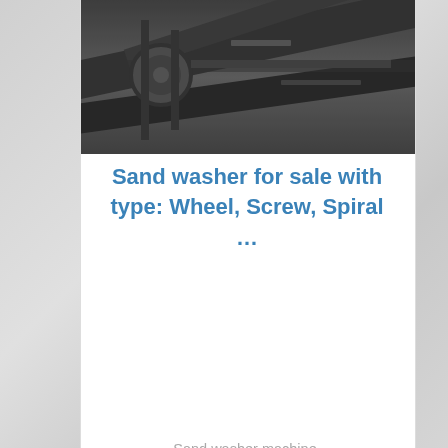[Figure (photo): Industrial machinery or conveyor equipment, close-up view showing metal beams and mechanical components in a manufacturing or quarrying setting. Dark tones with industrial equipment visible.]
Sand washer for sale with type: Wheel, Screw, Spiral ...
Sand washer machine. Sand washer is a washing machine widely used for manufacturing building aggregates, sand gravel in quarrying and mining
[Figure (photo): Industrial sand washing machine labeled KL760-1, shown outdoors near a building. The machine is blue and grey, with a street lamp visible in the background.]